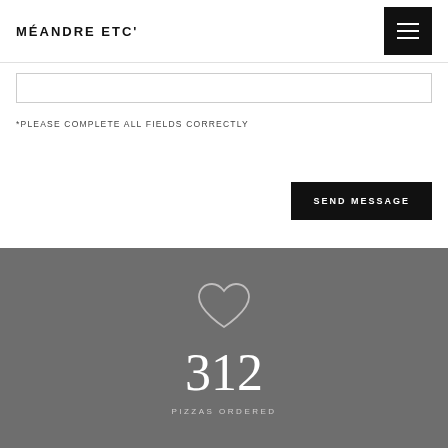MÉANDRE ETC'
*PLEASE COMPLETE ALL FIELDS CORRECTLY
SEND MESSAGE
312
PIZZAS ORDERED